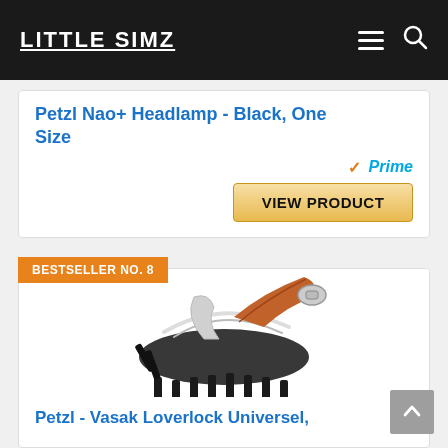LITTLE SIMZ
Petzl Nao+ Headlamp - Black, One Size
VIEW PRODUCT
BESTSELLER NO. 8
[Figure (photo): Petzl Vasak Loverlock Universel crampon product photo showing black metal crampons with brown leather straps]
Petzl - Vasak Loverlock Universel,